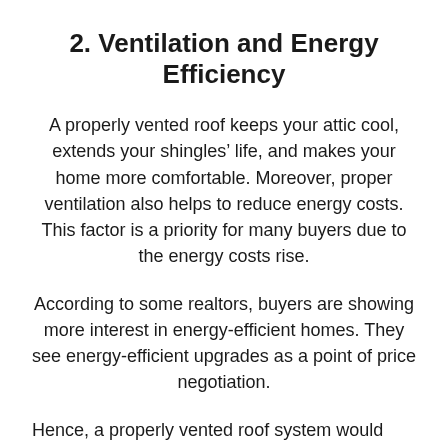2. Ventilation and Energy Efficiency
A properly vented roof keeps your attic cool, extends your shingles’ life, and makes your home more comfortable. Moreover, proper ventilation also helps to reduce energy costs. This factor is a priority for many buyers due to the energy costs rise.
According to some realtors, buyers are showing more interest in energy-efficient homes. They see energy-efficient upgrades as a point of price negotiation.
Hence, a properly vented roof system would...